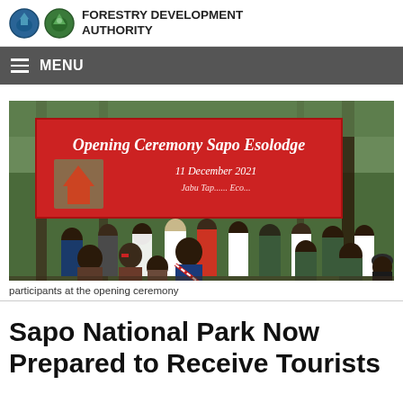FORESTRY DEVELOPMENT AUTHORITY
[Figure (photo): Group photo of participants at the opening ceremony of Sapo Ecolodge, 11 December 2021, standing in front of a red banner reading 'Opening Ceremony Sapo Ecolodge 11 December 2021']
participants at the opening ceremony
Sapo National Park Now Prepared to Receive Tourists